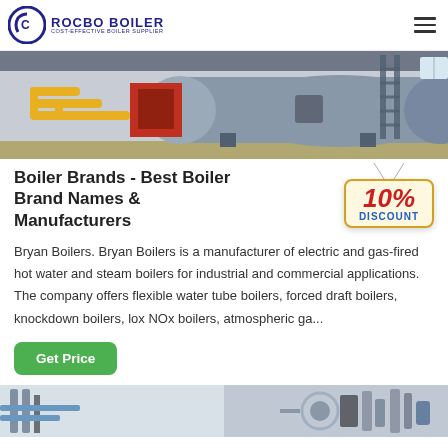[Figure (logo): Rocbo Boiler logo with cost-effective boiler supplier tagline and circular C icon]
[Figure (photo): Industrial boiler in a factory setting, horizontal cylindrical tank with yellow pipes and red components]
Boiler Brands - Best Boiler Brand Names & Manufacturers
[Figure (infographic): 10% DISCOUNT badge hanging tag]
Bryan Boilers. Bryan Boilers is a manufacturer of electric and gas-fired hot water and steam boilers for industrial and commercial applications. The company offers flexible water tube boilers, forced draft boilers, knockdown boilers, lox NOx boilers, atmospheric ga...
[Figure (photo): Partial view of industrial boiler equipment at bottom of page]